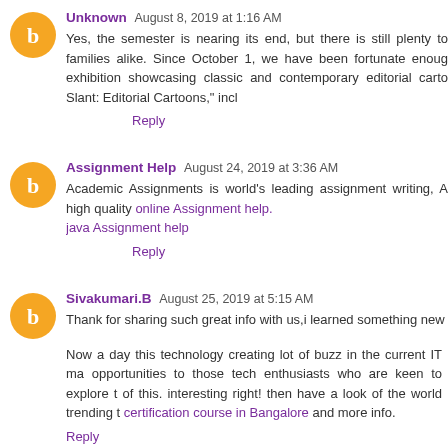Unknown  August 8, 2019 at 1:16 AM
Yes, the semester is nearing its end, but there is still plenty to families alike. Since October 1, we have been fortunate enoug exhibition showcasing classic and contemporary editorial carto Slant: Editorial Cartoons," incl
Reply
Assignment Help  August 24, 2019 at 3:36 AM
Academic Assignments is world's leading assignment writing, A high quality online Assignment help. java Assignment help
Reply
Sivakumari.B  August 25, 2019 at 5:15 AM
Thank for sharing such great info with us,i learned something new
Now a day this technology creating lot of buzz in the current IT ma opportunities to those tech enthusiasts who are keen to explore t of this. interesting right! then have a look of the world trending t certification course in Bangalore and more info.
Reply